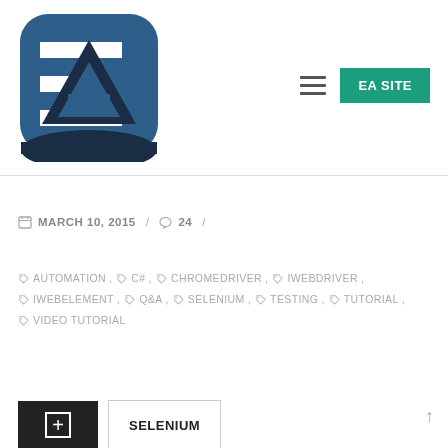[Figure (logo): EA logo — stylized 'EA' letters in white on dark blue rounded square with curved base shape]
≡  EA SITE
MARCH 10, 2015  /  24  /
AUTOMATION, C#, CHROMEDRIVER, IWEBDRIVER, IWEBELEMENT, Q&A, SELENIUM, TESTING, TUTORIAL, VIDEO TUTORIAL
[Figure (other): Dark add/plus button and SELENIUM label button at bottom]
SELENIUM